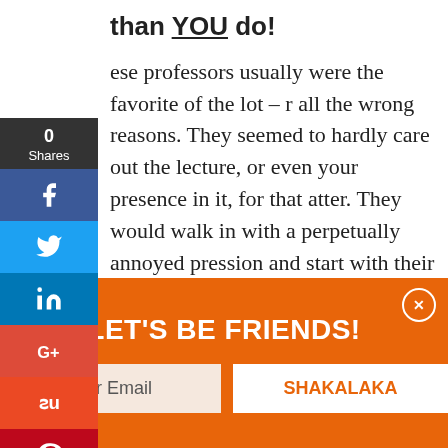than YOU do!
ese professors usually were the favorite of the lot – r all the wrong reasons. They seemed to hardly care out the lecture, or even your presence in it, for that atter. They would walk in with a perpetually annoyed pression and start with their lesson for the day. They rdly noticed when you asked to be excused and knowledged your requests with a grunt or a careless d. They never bothered with getting to your names yond calling it out for attendance roll, or while tributing marksheets. Their lectures ended on time –
[Figure (infographic): Social share sidebar with 0 Shares count, Facebook, Twitter, LinkedIn, Google+, StumbleUpon, and Pinterest buttons]
LET'S BE FRIENDS!
Enter Your Email
SHAKALAKA